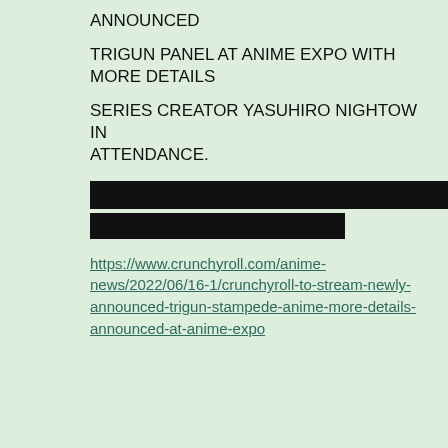ANNOUNCED
TRIGUN PANEL AT ANIME EXPO WITH MORE DETAILS
SERIES CREATOR YASUHIRO NIGHTOW IN ATTENDANCE.
[Figure (other): Two redacted black bars covering text]
https://www.crunchyroll.com/anime-news/2022/06/16-1/crunchyroll-to-stream-newly-announced-trigun-stampede-anime-more-details-announced-at-anime-expo
Anonymous Fri Jun 17 07:53:34 2022 No.10774832
Quoted by: >>10774872
>>10774802
I don't know if you do prize bins, but kids fucking love stickers for their waterbottles. Peeker stickers would be cute for door windows too lol. I'm totally stealing your ideas now.